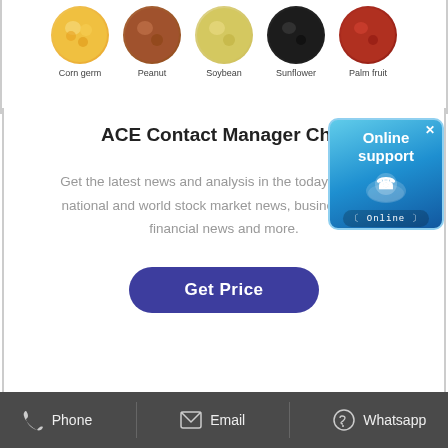[Figure (illustration): Five oval/circle seed images labeled: Corn germ, Peanut, Soybean, Sunflower, Palm fruit]
ACE Contact Manager Ch...
Get the latest news and analysis in the today, including national and world stock market news, business news, financial news and more.
[Figure (illustration): Online support popup box with phone icon and 'Online' badge]
Get Price
Phone   Email   Whatsapp